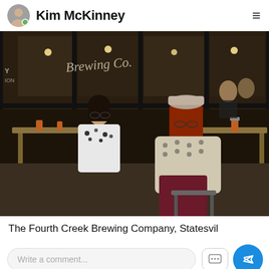Kim McKinney
[Figure (photo): Interior of Fourth Creek Brewing Company in Statesville. People sitting at wooden tables inside a brewery with large glass windows showing 'Brewing Co' signage. A woman in a floral top sits on the left, and a woman with red hair wearing a crochet shawl sits in the foreground on the right.]
The Fourth Creek Brewing Company, Statesville
Write a comment...